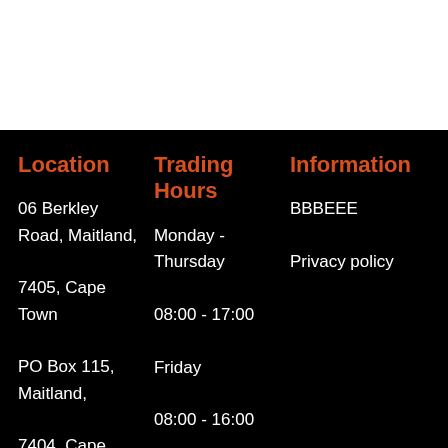Location
06 Berkley Road, Maitland, 7405, Cape Town
PO Box 115, Maitland, 7404, Cape
Trading Hours
Monday - Thursday
08:00 - 17:00
Friday
08:00 - 16:00
Information
BBBEEE
Privacy policy